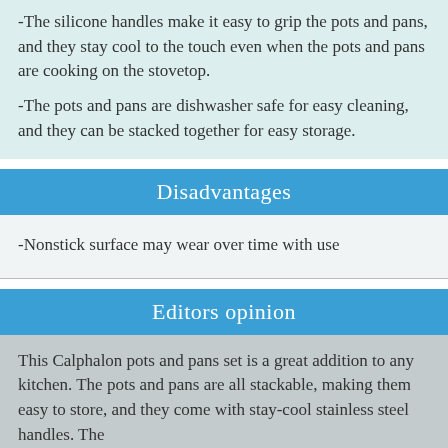-The silicone handles make it easy to grip the pots and pans, and they stay cool to the touch even when the pots and pans are cooking on the stovetop.
-The pots and pans are dishwasher safe for easy cleaning, and they can be stacked together for easy storage.
Disadvantages
-Nonstick surface may wear over time with use
Editors opinion
This Calphalon pots and pans set is a great addition to any kitchen. The pots and pans are all stackable, making them easy to store, and they come with stay-cool stainless steel handles. The